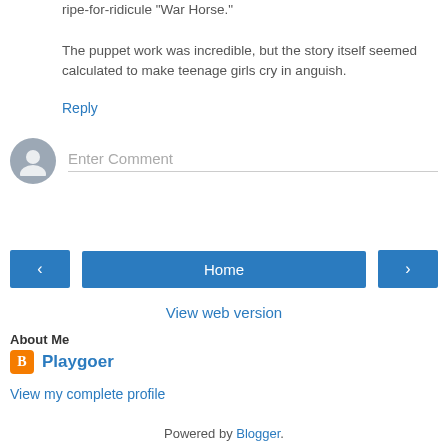ripe-for-ridicule "War Horse."

The puppet work was incredible, but the story itself seemed calculated to make teenage girls cry in anguish.
Reply
[Figure (other): Comment input area with user avatar icon and 'Enter Comment' placeholder text field]
[Figure (other): Navigation buttons: left arrow, Home, right arrow]
View web version
About Me
Playgoer
View my complete profile
Powered by Blogger.